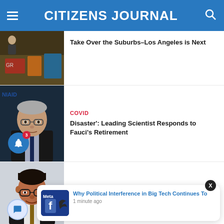CITIZENS JOURNAL
[Figure (photo): Graffiti / urban scene with colorful painted surfaces, partial view]
Take Over the Suburbs–Los Angeles is Next
[Figure (photo): Dr. Anthony Fauci in suit with glasses, official portrait style, NIAID badge visible]
COVID
Disaster': Leading Scientist Responds to Fauci's Retirement
[Figure (photo): Hispanic male official in suit with glasses, smiling headshot]
[Figure (screenshot): Push notification popup: Meta/Facebook logo image, text 'Why Political Interference in Big Tech Continues To', timestamp '1 minute ago']